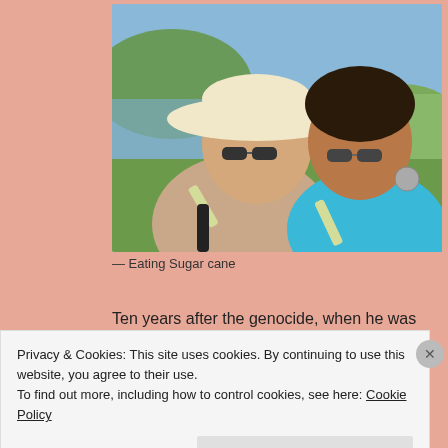[Figure (photo): Two women eating sugar cane outdoors near a lake with green hills in the background. The woman on the left wears a wide-brimmed white hat and sunglasses; the woman on the right has curly hair, sunglasses, and a turquoise top.]
— Eating Sugar cane
Ten years after the genocide, when he was 17, the
Privacy & Cookies: This site uses cookies. By continuing to use this website, you agree to their use.
To find out more, including how to control cookies, see here: Cookie Policy
Close and accept